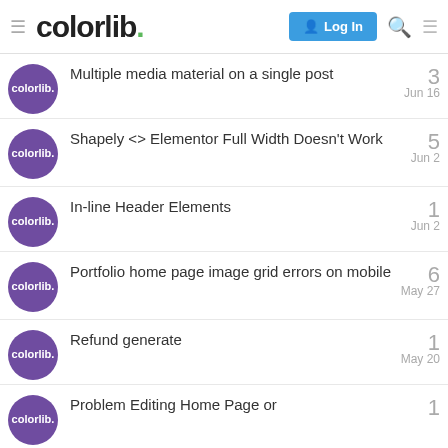colorlib. Log In
Multiple media material on a single post
3
Jun 16
Shapely <> Elementor Full Width Doesn't Work
5
Jun 2
In-line Header Elements
1
Jun 2
Portfolio home page image grid errors on mobile
6
May 27
Refund generate
1
May 20
Problem Editing Home Page or
1